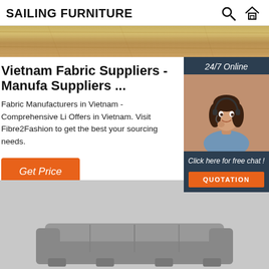SAILING FURNITURE
[Figure (photo): Wood grain texture banner]
Vietnam Fabric Suppliers - Manufa Suppliers ...
Fabric Manufacturers in Vietnam - Comprehensive Li Offers in Vietnam. Visit Fibre2Fashion to get the best your sourcing needs.
[Figure (photo): 24/7 Online customer service agent with headset, with 'Click here for free chat!' and QUOTATION button]
[Figure (photo): Product image of a sofa/furniture at the bottom of the page]